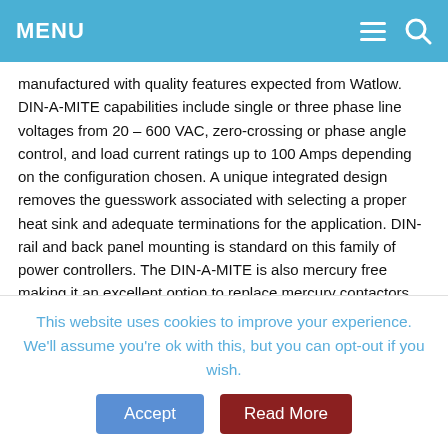MENU
manufactured with quality features expected from Watlow. DIN-A-MITE capabilities include single or three phase line voltages from 20 – 600 VAC, zero-crossing or phase angle control, and load current ratings up to 100 Amps depending on the configuration chosen. A unique integrated design removes the guesswork associated with selecting a proper heat sink and adequate terminations for the application. DIN-rail and back panel mounting is standard on this family of power controllers. The DIN-A-MITE is also mercury free making it an excellent option to replace mercury contactors.
Usually Ships in 3-5 Business Days
$206.98
SKU: DA10-24K2-0000
This website uses cookies to improve your experience. We'll assume you're ok with this, but you can opt-out if you wish.